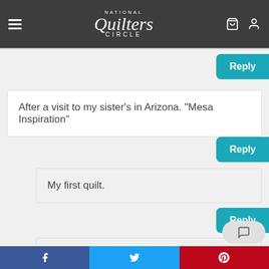National Quilters Circle
After a visit to my sister’s in Arizona. “Mesa Inspiration”
Reply
My first quilt.
Reply
Made by a community quilting club. Took 4 years.
Social share bar: Facebook, Twitter, Pinterest